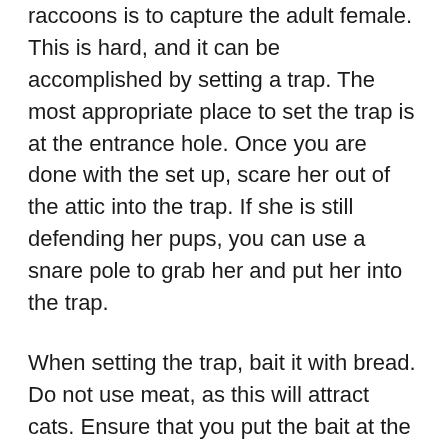raccoons is to capture the adult female. This is hard, and it can be accomplished by setting a trap. The most appropriate place to set the trap is at the entrance hole. Once you are done with the set up, scare her out of the attic into the trap. If she is still defending her pups, you can use a snare pole to grab her and put her into the trap.
When setting the trap, bait it with bread. Do not use meat, as this will attract cats. Ensure that you put the bait at the back of the trap. This way, once the raccoon goes to get the bait; it will be trapped easily.
Once you have caught the raccoon, you can call the wildlife service in your area to come and get the raccoon. If you are licensed to trap raccoon, you can put the trapped